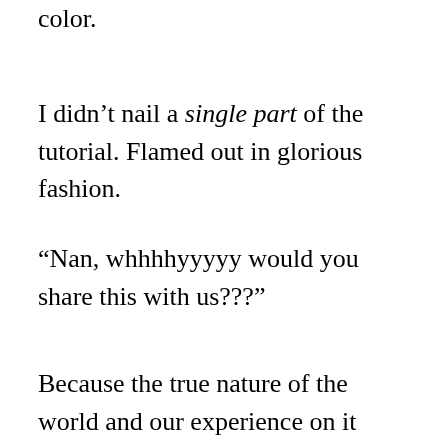color.
I didn't nail a single part of the tutorial. Flamed out in glorious fashion.
“Nan, whhhhyyyyy would you share this with us???”
Because the true nature of the world and our experience on it involves a lot of failure. I’m not willing to share all my failures…I’m a bit sensitive about some of them. This one,